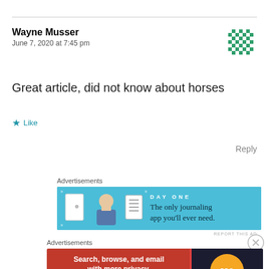Wayne Musser
June 7, 2020 at 7:45 pm
[Figure (illustration): Green pixel/mosaic avatar icon]
Great article, did not know about horses
★ Like
Reply
Advertisements
[Figure (screenshot): DayOne journaling app advertisement banner: 'The only journaling app you'll ever need.']
REPORT THIS AD
Advertisements
[Figure (screenshot): DuckDuckGo advertisement: 'Search, browse, and email with more privacy. All in One Free App']